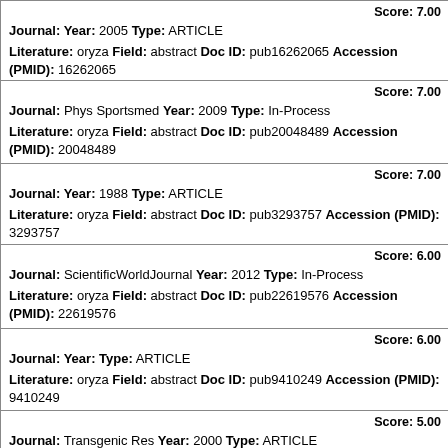Score: 7.00
Journal: Year: 2005 Type: ARTICLE
Literature: oryza Field: abstract Doc ID: pub16262065 Accession (PMID): 16262065
Score: 7.00
Journal: Phys Sportsmed Year: 2009 Type: In-Process
Literature: oryza Field: abstract Doc ID: pub20048489 Accession (PMID): 20048489
Score: 7.00
Journal: Year: 1988 Type: ARTICLE
Literature: oryza Field: abstract Doc ID: pub3293757 Accession (PMID): 3293757
Score: 6.00
Journal: ScientificWorldJournal Year: 2012 Type: In-Process
Literature: oryza Field: abstract Doc ID: pub22619576 Accession (PMID): 22619576
Score: 6.00
Journal: Year: Type: ARTICLE
Literature: oryza Field: abstract Doc ID: pub9410249 Accession (PMID): 9410249
Score: 5.00
Journal: Transgenic Res Year: 2000 Type: ARTICLE